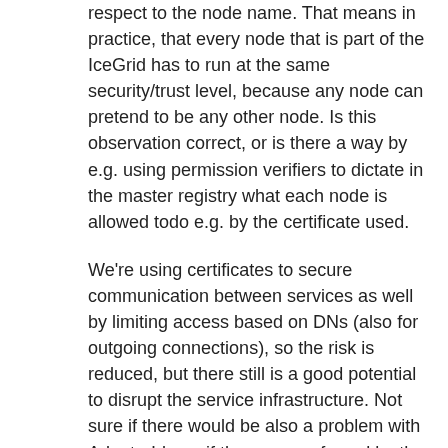respect to the node name. That means in practice, that every node that is part of the IceGrid has to run at the same security/trust level, because any node can pretend to be any other node. Is this observation correct, or is there a way by e.g. using permission verifiers to dictate in the master registry what each node is allowed todo e.g. by the certificate used.
We're using certificates to secure communication between services as well by limiting access based on DNs (also for outgoing connections), so the risk is reduced, but there still is a good potential to disrupt the service infrastructure. Not sure if there would be also a problem with AdapterIds, or if those are enforced by the registry based on deployment information.
Bringing this down to a yes/no question: Do all participating nodes in an IceGrid form a hippie commune (and therefore might use the same SSL certificate as well, since it won't make a difference